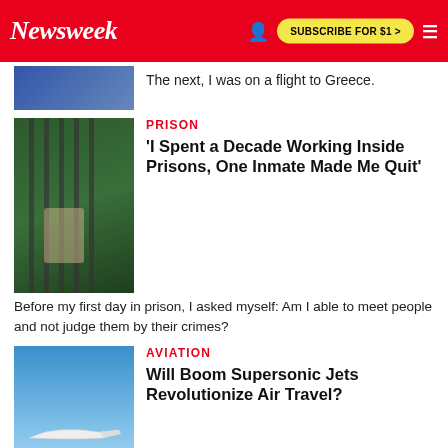Newsweek | SUBSCRIBE FOR $1 >
The next, I was on a flight to Greece.
PRISON
'I Spent a Decade Working Inside Prisons, One Inmate Made Me Quit'
Before my first day in prison, I asked myself: Am I able to meet people and not judge them by their crimes?
AVIATION
Will Boom Supersonic Jets Revolutionize Air Travel?
With its new jets, the Denver-based company will bring back commercial supersonic travel almost 20 years after the failure of Concorde.
CHOOSE YOUR SUBSCRIPTION